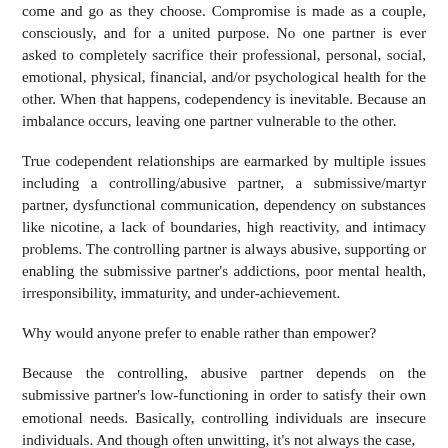come and go as they choose. Compromise is made as a couple, consciously, and for a united purpose. No one partner is ever asked to completely sacrifice their professional, personal, social, emotional, physical, financial, and/or psychological health for the other. When that happens, codependency is inevitable. Because an imbalance occurs, leaving one partner vulnerable to the other.
True codependent relationships are earmarked by multiple issues including a controlling/abusive partner, a submissive/martyr partner, dysfunctional communication, dependency on substances like nicotine, a lack of boundaries, high reactivity, and intimacy problems. The controlling partner is always abusive, supporting or enabling the submissive partner's addictions, poor mental health, irresponsibility, immaturity, and under-achievement.
Why would anyone prefer to enable rather than empower?
Because the controlling, abusive partner depends on the submissive partner's low-functioning in order to satisfy their own emotional needs. Basically, controlling individuals are insecure individuals. And though often unwitting, it's not always the case,